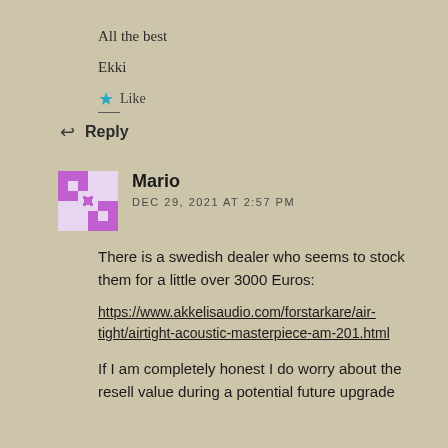All the best
Ekki
★ Like
↩ Reply
Mario
DEC 29, 2021 AT 2:57 PM
There is a swedish dealer who seems to stock them for a little over 3000 Euros:
https://www.akkelisaudio.com/forstarkare/air-tight/airtight-acoustic-masterpiece-am-201.html
If I am completely honest I do worry about the resell value during a potential future upgrade